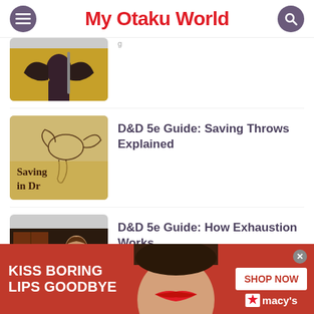My Otaku World
[Figure (photo): Fantasy/anime illustration with a dark warrior figure against a yellow background]
[Figure (photo): Vintage illustration of a dragon with text 'Saving Throws in D&D' on a parchment/tan background]
D&D 5e Guide: Saving Throws Explained
[Figure (photo): Partial view of a scene with people, woman visible]
D&D 5e Guide: How Exhaustion Works
[Figure (photo): Macy's advertisement banner: KISS BORING LIPS GOODBYE with SHOP NOW button and Macy's logo]